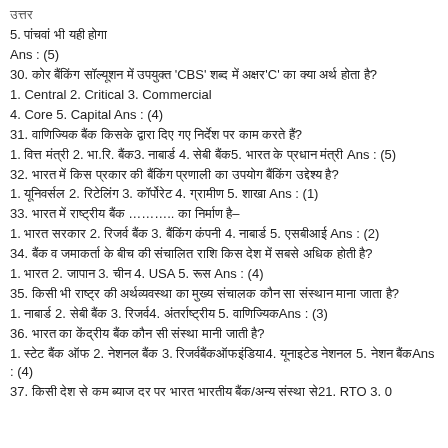उत्तर
5. पांचवां भी यही होगा
Ans : (5)
30. कोर बैंकिंग सॉल्यूशन में उपयुक्त 'CBS' शब्द में अक्षर'C' का क्या अर्थ होता है?
1. Central 2. Critical 3. Commercial
4. Core 5. Capital Ans : (4)
31. वाणिज्यिक बैंक किसके द्वारा दिए गए निर्देश पर काम करते हैं?
1. वित्त मंत्री 2. भा.रि. बैंक3. नाबार्ड 4. सेबी बैंक5. भारत के प्रधान मंत्री Ans : (5)
32. भारत में किस प्रकार की बैंकिंग प्रणाली का उपयोग बैंकिंग उद्देश्य है?
1. यूनिवर्सल 2. रिटेलिंग 3. कॉर्पोरेट 4. ग्रामीण 5. शाखा Ans : (1)
33. भारत में राष्ट्रीय बैंक ……….. का निर्माण है–
1. भारत सरकार 2. रिजर्व बैंक 3. बैंकिंग कंपनी 4. नाबार्ड 5. एसबीआई Ans : (2)
34. बैंक व जमाकर्ता के बीच की संचालित राशि किस देश में सबसे अधिक होती है?
1. भारत 2. जापान 3. चीन 4. USA 5. रूस Ans : (4)
35. किसी भी राष्ट्र की अर्थव्यवस्था का मुख्य संचालक कौन सा संस्थान माना जाता है?
1. नाबार्ड 2. सेबी बैंक 3. रिजर्व4. अंतर्राष्ट्रीय 5. वाणिज्यिकAns : (3)
36. भारत का केंद्रीय बैंक कौन सी संस्था मानी जाती है?
1. स्टेट बैंक ऑफ 2. नेशनल बैंक 3. रिजर्वबैंकऑफइंडिया4. यूनाइटेड नेशनल 5. नेशन बैंकAns : (4)
37. किसी देश से कम ब्याज दर पर भारत भारतीय बैंक/अन्य संस्था से21. RTO 3. 0